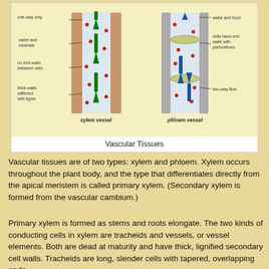[Figure (illustration): Diagram comparing xylem vessel and phloem vessel structures. Xylem vessel (left): labeled with 'one-way only', 'water and minerals', 'no end walls between cells', 'thick walls stiffened with lignin'; shows green upward arrows and red dots inside a tube with brown outer walls. Phloem vessel (right): labeled with 'water and food', 'cells have end walls with perforations', 'two-way flow'; shows blue arrows (up and down) and red dots inside a tube with sieve plates.]
Vascular Tissues
Vascular tissues are of two types: xylem and phloem. Xylem occurs throughout the plant body, and the type that differentiates directly from the apical meristem is called primary xylem. (Secondary xylem is formed from the vascular cambium.)
Primary xylem is formed as stems and roots elongate. The two kinds of conducting cells in xylem are tracheids and vessels, or vessel elements. Both are dead at maturity and have thick, lignified secondary cell walls. Tracheids are long, slender cells with tapered, overlapping ends.